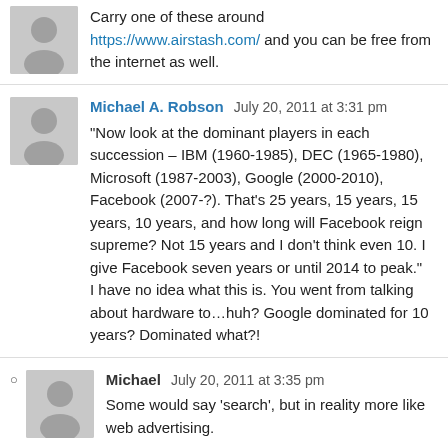Carry one of these around https://www.airstash.com/ and you can be free from the internet as well.
Michael A. Robson   July 20, 2011 at 3:31 pm
"Now look at the dominant players in each succession – IBM (1960-1985), DEC (1965-1980), Microsoft (1987-2003), Google (2000-2010), Facebook (2007-?). That's 25 years, 15 years, 15 years, 10 years, and how long will Facebook reign supreme? Not 15 years and I don't think even 10. I give Facebook seven years or until 2014 to peak."
I have no idea what this is. You went from talking about hardware to…huh? Google dominated for 10 years? Dominated what?!
Michael   July 20, 2011 at 3:35 pm
Some would say 'search', but in reality more like web advertising.